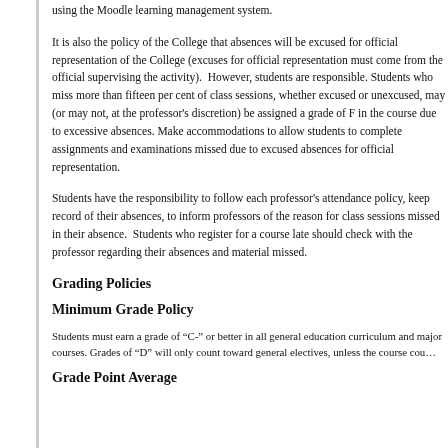using the Moodle learning management system.
It is also the policy of the College that absences will be excused for official representation of the College (excuses for official representation must come from the official supervising the activity). However, students are responsible. Students who miss more than fifteen per cent of class sessions, whether excused or unexcused, may (or may not, at the professor's discretion) be assigned a grade of F in the course due to excessive absences. Make accommodations to allow students to complete assignments and examinations missed due to excused absences for official representation.
Students have the responsibility to follow each professor’s attendance policy, keep record of their absences, to inform professors of the reason for class sessions missed in their absence. Students who register for a course late should check with the professor regarding their absences and material missed.
Grading Policies
Minimum Grade Policy
Students must earn a grade of “C-” or better in all general education curriculum and major courses. Grades of “D” will only count toward general electives, unless the course cou…
Grade Point Average